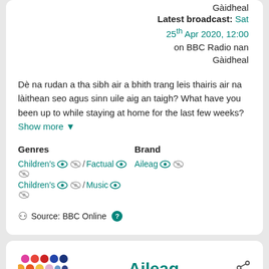Gàidheal
Latest broadcast: Sat 25th Apr 2020, 12:00 on BBC Radio nan Gàidheal
Dè na rudan a tha sibh air a bhith trang leis thairis air na làithean seo agus sinn uile aig an taigh? What have you been up to while staying at home for the last few weeks? Show more
Genres: Children's / Factual, Children's / Music | Brand: Aileag
Source: BBC Online
[Figure (logo): Aileag logo with coloured dots and Aileag title text and share icon]